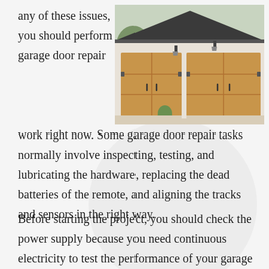any of these issues, you should perform garage door repair
[Figure (photo): Photo of a home exterior with two wooden garage doors side by side, mounted on a white facade with a grey roof, with outdoor wall lights and a plant.]
work right now. Some garage door repair tasks normally involve inspecting, testing, and lubricating the hardware, replacing the dead batteries of the remote, and aligning the tracks and sensors in the right way.
Before starting the project, you should check the power supply because you need continuous electricity to test the performance of your garage door. Next, you need to find out the correction antenna, which...